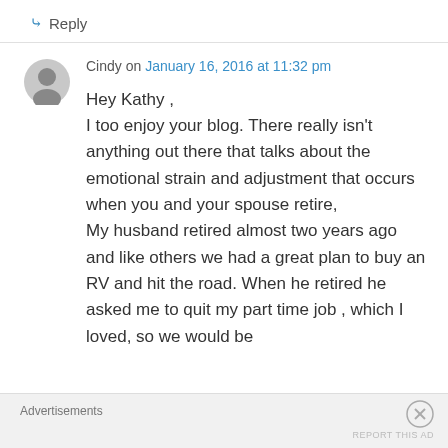↳ Reply
Cindy on January 16, 2016 at 11:32 pm
Hey Kathy ,
I too enjoy your blog. There really isn't anything out there that talks about the emotional strain and adjustment that occurs when you and your spouse retire,
My husband retired almost two years ago and like others we had a great plan to buy an RV and hit the road. When he retired he asked me to quit my part time job , which I loved, so we would be
Advertisements